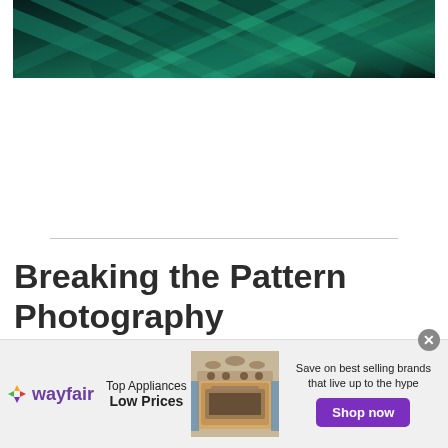[Figure (photo): Abstract dark teal and green diagonal lines/stripes crossing over each other, resembling bamboo or geometric pattern.]
Breaking the Pattern Photography
Breaking the pattern in photography is when you deliberately disrupt the pattern or use a single element from the pattern to create a contrast within
[Figure (infographic): Wayfair advertisement banner. Logo with colorful star icon and 'wayfair' text. Headline: 'Top Appliances Low Prices'. Image of a kitchen range/oven. Text: 'Save on best selling brands that live up to the hype'. Purple 'Shop now' button. Close (X) button in top right corner.]